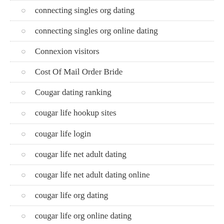connecting singles org dating
connecting singles org online dating
Connexion visitors
Cost Of Mail Order Bride
Cougar dating ranking
cougar life hookup sites
cougar life login
cougar life net adult dating
cougar life net adult dating online
cougar life org dating
cougar life org online dating
CountryMatch visitors